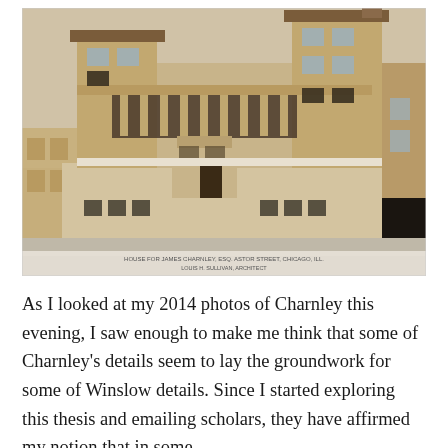[Figure (photo): Architectural rendering/photograph of the Charnley House, a multi-story brick building at Astor Street, Chicago, IL, designed by Louis H. Sullivan. The image shows the building's facade with Prairie-style elements including geometric windows, a loggia on the second floor, and horizontal banding. Text at the bottom of the image reads: 'HOUSE FOR JAMES CHARNLEY, ESQ. ASTOR STREET, CHICAGO, ILL. / LOUIS H. SULLIVAN, ARCHITECT']
As I looked at my 2014 photos of Charnley this evening, I saw enough to make me think that some of Charnley's details seem to lay the groundwork for some of Winslow details. Since I started exploring this thesis and emailing scholars, they have affirmed my notion that in some